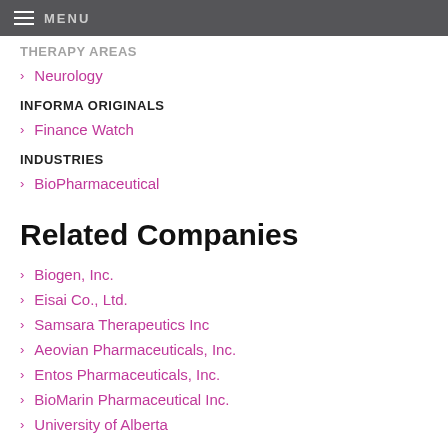MENU
THERAPY AREAS
Neurology
INFORMA ORIGINALS
Finance Watch
INDUSTRIES
BioPharmaceutical
Related Companies
Biogen, Inc.
Eisai Co., Ltd.
Samsara Therapeutics Inc
Aeovian Pharmaceuticals, Inc.
Entos Pharmaceuticals, Inc.
BioMarin Pharmaceutical Inc.
University of Alberta